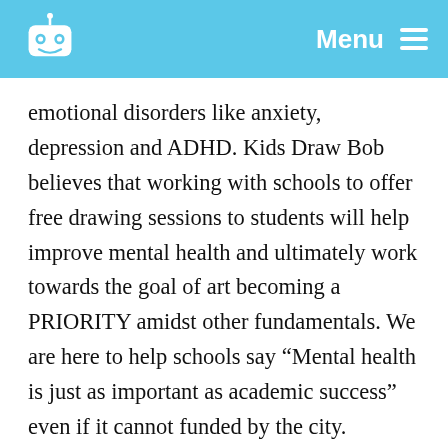Menu
emotional disorders like anxiety, depression and ADHD. Kids Draw Bob believes that working with schools to offer free drawing sessions to students will help improve mental health and ultimately work towards the goal of art becoming a PRIORITY amidst other fundamentals. We are here to help schools say “Mental health is just as important as academic success” even if it cannot funded by the city.
The drawing techniques taught during a KDB